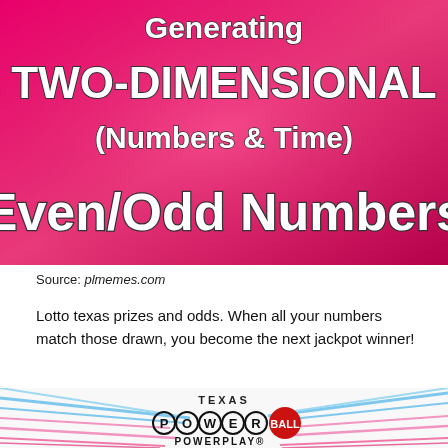[Figure (illustration): Pink/magenta gradient background with bold white text reading 'Generating TWO-DIMENSIONAL (Numbers & Time) Even/Odd Numbers']
Source: plmemes.com
Lotto texas prizes and odds. When all your numbers match those drawn, you become the next jackpot winner!
[Figure (logo): Texas Powerball PowerPlay logo with blue and pink streaks on white background]